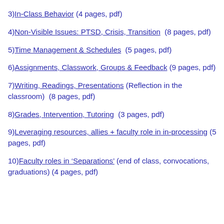3)In-Class Behavior (4 pages, pdf)
4)Non-Visible Issues: PTSD, Crisis, Transition  (8 pages, pdf)
5)Time Management & Schedules  (5 pages, pdf)
6)Assignments, Classwork, Groups & Feedback (9 pages, pdf)
7)Writing, Readings, Presentations (Reflection in the classroom)  (8 pages, pdf)
8)Grades, Intervention, Tutoring  (3 pages, pdf)
9)Leveraging resources, allies + faculty role in in-processing (5 pages, pdf)
10)Faculty roles in ‘Separations’ (end of class, convocations, graduations) (4 pages, pdf)